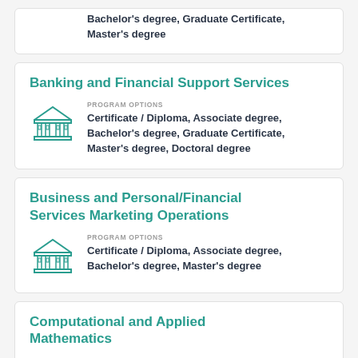Bachelor's degree, Graduate Certificate, Master's degree
Banking and Financial Support Services
PROGRAM OPTIONS
Certificate / Diploma, Associate degree, Bachelor's degree, Graduate Certificate, Master's degree, Doctoral degree
Business and Personal/Financial Services Marketing Operations
PROGRAM OPTIONS
Certificate / Diploma, Associate degree, Bachelor's degree, Master's degree
Computational and Applied Mathematics